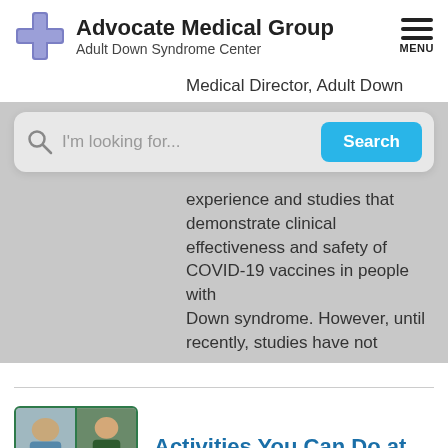Advocate Medical Group Adult Down Syndrome Center
Medical Director, Adult Down
I'm looking for...
experience and studies that demonstrate clinical effectiveness and safety of COVID-19 vaccines in people with Down syndrome. However, until recently, studies have not
[Figure (illustration): Thumbnail grid of four photos showing activities]
Activities You Can Do at Home